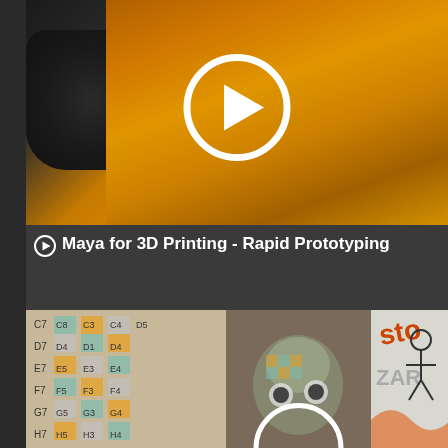[Figure (screenshot): Video thumbnail showing an orange 3D printed surface with a dark object on the left, and a white circular play button overlay in the center]
⊙ Maya for 3D Printing - Rapid Prototyping
[Figure (screenshot): Video thumbnail showing a colorful grid texture with a chameleon 3D character in the center, and graffiti art on the right side. A partial white play button circle is visible at the bottom center.]